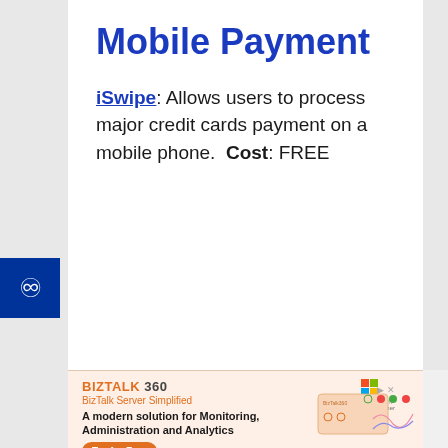Mobile Payment
iSwipe: Allows users to process major credit cards payment on a mobile phone. Cost: FREE
[Figure (other): Accessibility icon button (person with arms out) on dark blue background, positioned on left sidebar]
[Figure (other): BizTalk 360 advertisement banner: BizTalk Server Simplified. A modern solution for Monitoring, Administration and Analytics. Try for Free button. Microsoft Gold Partner logo. Dashboard screenshot graphic.]